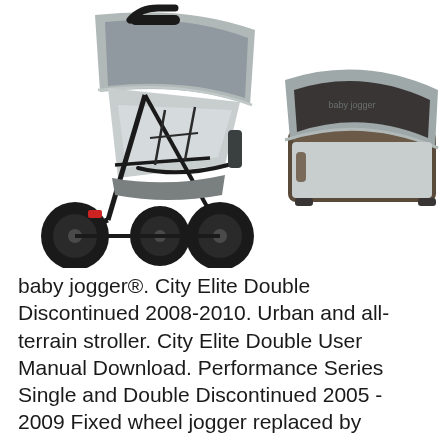[Figure (photo): Photo of a Baby Jogger City Elite three-wheeled jogging stroller in grey/silver color on the left, and a grey/brown bassinet/pram attachment on the right, both on a white background.]
baby jogger®. City Elite Double Discontinued 2008-2010. Urban and all-terrain stroller. City Elite Double User Manual Download. Performance Series Single and Double Discontinued 2005 - 2009 Fixed wheel jogger replaced by